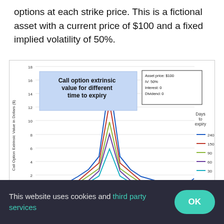options at each strike price. This is a fictional asset with a current price of $100 and a fixed implied volatility of 50%.
[Figure (line-chart): Call option extrinsic value for different time to expiry]
This website uses cookies and third party services